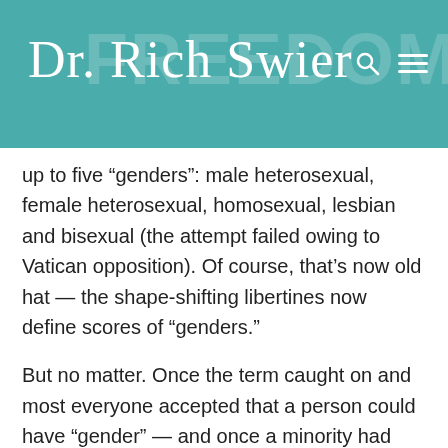Dr. Rich Swier
up to five “genders”: male heterosexual, female heterosexual, homosexual, lesbian and bisexual (the attempt failed owing to Vatican opposition). Of course, that’s now old hat — the shape-shifting libertines now define scores of “genders.”
But no matter. Once the term caught on and most everyone accepted that a person could have “gender” — and once a minority had accepted that there could be more than two — the next step was to add to the concept the notion that a person could be “transgender” and